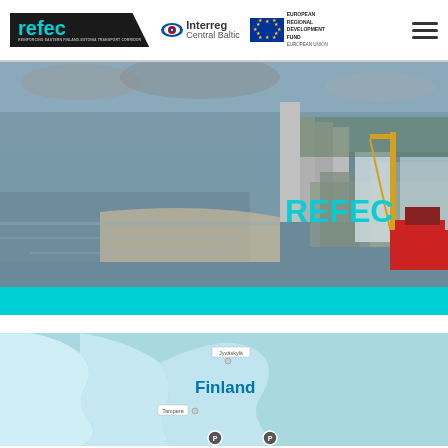[Figure (logo): REFEC project logo with dark background and teal text]
[Figure (logo): Interreg Central Baltic programme logo with eye icon]
[Figure (logo): European Union flag and European Regional Development Fund text]
[Figure (photo): Aerial photo of a port city with waterfront, industrial buildings, a ship with crane, and REFEC watermark text in teal]
[Figure (map): Map of Finland showing location markers, with city labels Jyväskylä and Tampere, and Finland label in bold blue]